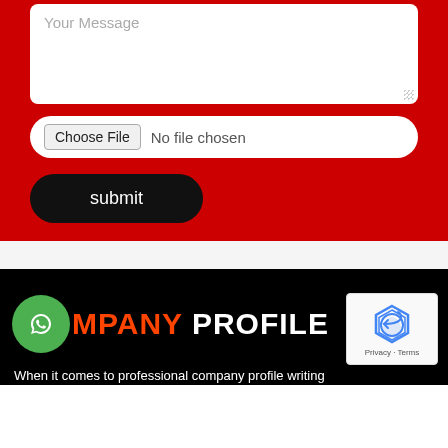[Figure (screenshot): A web contact form on a red background showing a 'Your Message' textarea, a file chooser input reading 'No file chosen', and a black rounded 'submit' button.]
[Figure (logo): WhatsApp green circle icon next to 'COMPANY PROFILE' text in orange and white on black background, with reCAPTCHA widget in the top-right corner.]
When it comes to professional company profile writing